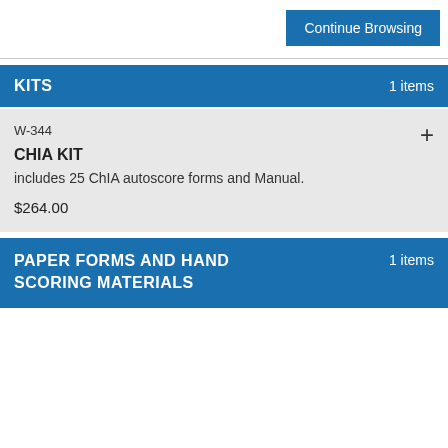Continue Browsing
KITS  1 items
W-344
CHIA KIT
includes 25 ChIA autoscore forms and Manual.
$264.00
PAPER FORMS AND HAND SCORING MATERIALS  1 items